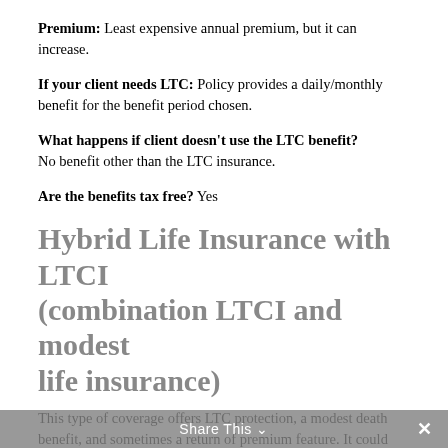Premium: Least expensive annual premium, but it can increase.
If your client needs LTC: Policy provides a daily/monthly benefit for the benefit period chosen.
What happens if client doesn't use the LTC benefit? No benefit other than the LTC insurance.
Are the benefits tax free? Yes
Hybrid Life Insurance with LTCI
(combination LTCI and modest life insurance)
This type of coverage offers LTC protection, a modest death benefit, and sometimes a return of premium feature. It could benefit someone who is looking to reposition an existing asset or 1035 exchange